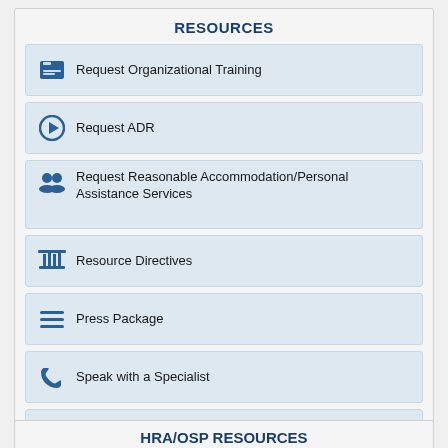RESOURCES
Request Organizational Training
Request ADR
Request Reasonable Accommodation/Personal Assistance Services
Resource Directives
Press Package
Speak with a Specialist
Events Calendar
HRA/OSP RESOURCES